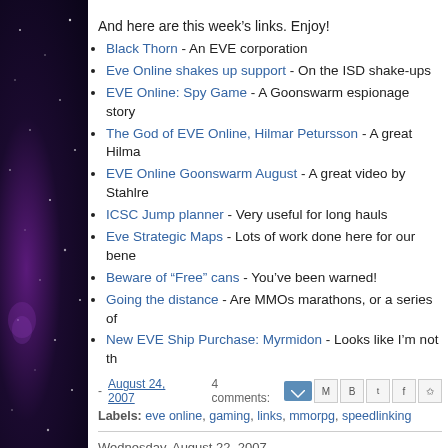And here are this week's links. Enjoy!
Black Thorn - An EVE corporation
Eve Online shakes up support - On the ISD shake-ups
EVE Online: Spy Game - A Goonswarm espionage story
The God of EVE Online, Hilmar Petursson - A great Hilma...
EVE Online Goonswarm August - A great video by Stahlre...
ICSC Jump planner - Very useful for long hauls
Eve Strategic Maps - Lots of work done here for our bene...
Beware of "Free" cans - You've been warned!
Going the distance - Are MMOs marathons, or a series of...
New EVE Ship Purchase: Myrmidon - Looks like I'm not th...
- August 24, 2007   4 comments:
Labels: eve online, gaming, links, mmorpg, speedlinking
Wednesday, August 22, 2007
A North American EVE Fanfest?
In one of my previous posts, I listed attending an EVE Online N...